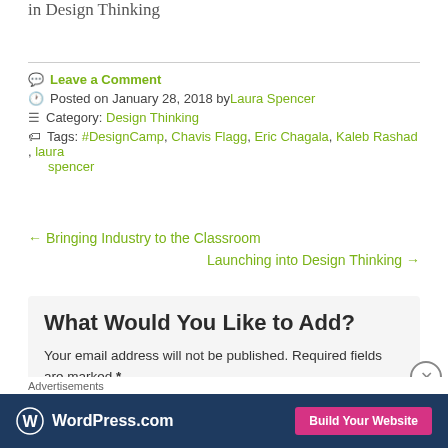in Design Thinking
Leave a Comment
Posted on January 28, 2018 by Laura Spencer
Category: Design Thinking
Tags: #DesignCamp, Chavis Flagg, Eric Chagala, Kaleb Rashad, laura spencer
← Bringing Industry to the Classroom
Launching into Design Thinking →
What Would You Like to Add?
Your email address will not be published. Required fields are marked *
Advertisements
[Figure (infographic): WordPress.com advertisement banner with logo and 'Build Your Website' button]